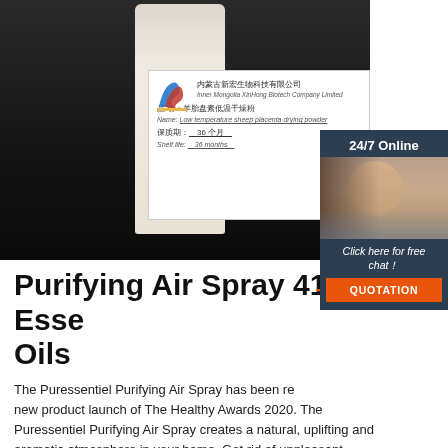[Figure (photo): Product photo showing a white bottle/container against a dark background, with a product label from Inner Mongolia XinHong Biotech Company Limited showing Chinese text and English text including 'Low temperature sheep placenta drying powder', shelf life 36 months]
[Figure (photo): Chat widget with woman customer service representative wearing headset, '24/7 Online' text, 'Click here for free chat!' text, and 'QUOTATION' orange button]
Purifying Air Spray 41 Essential Oils
The Puressentiel Purifying Air Spray has been recognised as the new product launch of The Healthy Awards 2020. The Puressentiel Purifying Air Spray creates a natural, uplifting and aromatic atmosphere in your home. Get rid of unpleasant odours and enjoy a fresh air without synthetic chemicals. Its patented formula contains a unique blend of 41 pure and natural essential oils.